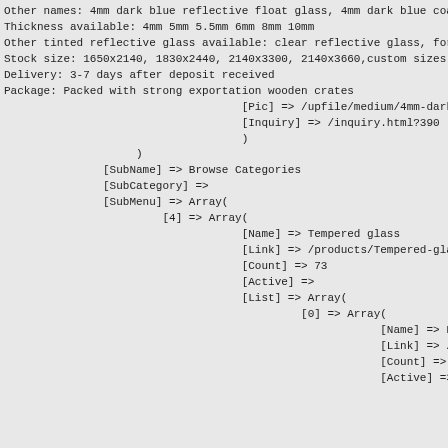Other names: 4mm dark blue reflective float glass, 4mm dark blue coated...
Thickness available: 4mm 5mm 5.5mm 6mm 8mm 10mm
Other tinted reflective glass available: clear reflective glass, ford bl...
Stock size: 1650x2140, 1830x2440, 2140x3300, 2140x3660,custom sizes
Delivery: 3-7 days after deposit received
Package: Packed with strong exportation wooden crates
                                    [Pic] => /upfile/medium/4mm-dark...
                                    [Inquiry] => /inquiry.html?390
                                    )
                    )
               [SubName] => Browse Categories
               [SubCategory] =>
               [SubMenu] => Array(
                        [4] => Array(
                                    [Name] => Tempered glass
                                    [Link] => /products/Tempered-gla...
                                    [Count] => 73
                                    [Active] =>
                                    [List] => Array(
                                             [0] => Array(
                                                         [Name] => Flat t...
                                                         [Link] => /produ...
                                                         [Count] => 52
                                                         [Active] =>